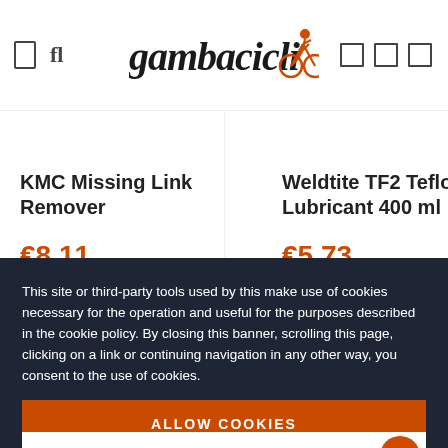gambacicli [logo with bicycle rider icon]
KMC Missing Link Remover
€8.11
Weldtite TF2 Teflon Lubricant 400 ml
€5.73
This site or third-party tools used by this make use of cookies necessary for the operation and useful for the purposes described in the cookie policy. By closing this banner, scrolling this page, clicking on a link or continuing navigation in any other way, you consent to the use of cookies.
ALLOW COOKIES
SETTINGS